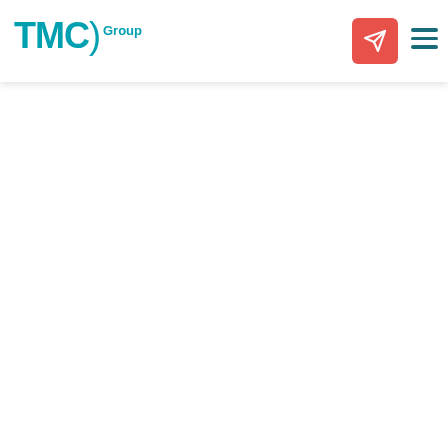customers have logged in, they can access products, order-tracking information, and potentially, even pay for offline orders.
[Figure (logo): TMCI Group logo in teal/cyan color]
[Figure (other): Red square button with white paper airplane send icon]
[Figure (other): Three horizontal lines hamburger menu icon in dark teal]